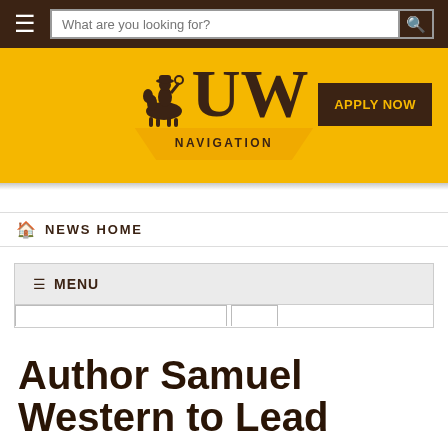What are you looking for?
[Figure (logo): University of Wyoming logo with cowboy silhouette, UW text, and NAVIGATION label on gold background with APPLY NOW button]
NEWS HOME
≡ MENU
Author Samuel Western to Lead